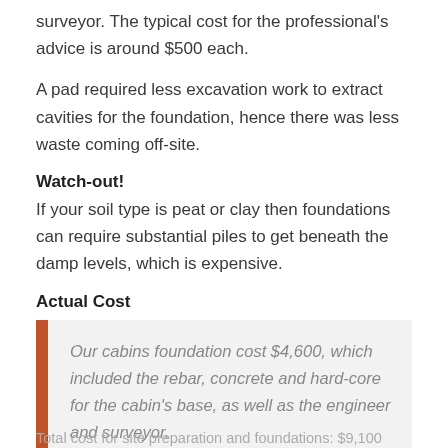surveyor. The typical cost for the professional's advice is around $500 each.
A pad required less excavation work to extract cavities for the foundation, hence there was less waste coming off-site.
Watch-out!
If your soil type is peat or clay then foundations can require substantial piles to get beneath the damp levels, which is expensive.
Actual Cost
Our cabins foundation cost $4,600, which included the rebar, concrete and hard-core for the cabin's base, as well as the engineer and surveyor.
Total cost for site preparation and foundations: $9,100